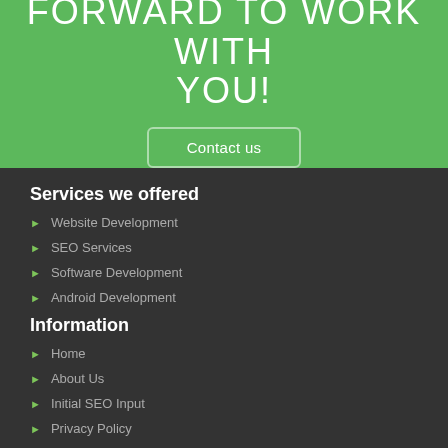FORWARD TO WORK WITH YOU!
Contact us
Services we offered
Website Development
SEO Services
Software Development
Android Development
Information
Home
About Us
Initial SEO Input
Privacy Policy